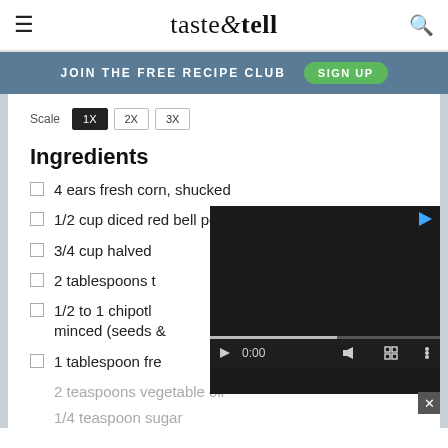taste & tell
JOIN THE FREE RECIPE CLUB   SIGN UP
Scale 1X 2X 3X
Ingredients
4 ears fresh corn, shucked
1/2 cup diced red bell pepper
3/4 cup halved [obscured by video]
2 tablespoons t[obscured by video]
1/2 to 1 chipotl[obscured by video] minced (seeds [obscured by video]
1 tablespoon fre[obscured by video]
2 teaspoons vegetable oil
1/4 teaspoon sugar
[Figure (screenshot): Embedded video player overlay showing 0:00 timecode with play, volume, fullscreen, and more options controls on a dark background]